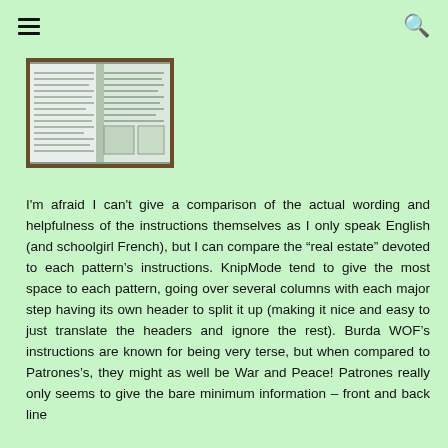[hamburger menu icon] [search icon]
[Figure (photo): Open magazine or book showing columns of text and a small illustration, photographed on a wooden surface]
I'm afraid I can't give a comparison of the actual wording and helpfulness of the instructions themselves as I only speak English (and schoolgirl French), but I can compare the “real estate” devoted to each pattern’s instructions. KnipMode tend to give the most space to each pattern, going over several columns with each major step having its own header to split it up (making it nice and easy to just translate the headers and ignore the rest). Burda WOF’s instructions are known for being very terse, but when compared to Patrones’s, they might as well be War and Peace! Patrones really only seems to give the bare minimum information – front and back line